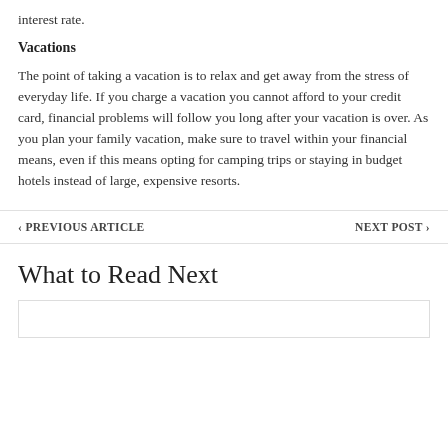interest rate.
Vacations
The point of taking a vacation is to relax and get away from the stress of everyday life. If you charge a vacation you cannot afford to your credit card, financial problems will follow you long after your vacation is over. As you plan your family vacation, make sure to travel within your financial means, even if this means opting for camping trips or staying in budget hotels instead of large, expensive resorts.
< PREVIOUS ARTICLE    NEXT POST >
What to Read Next